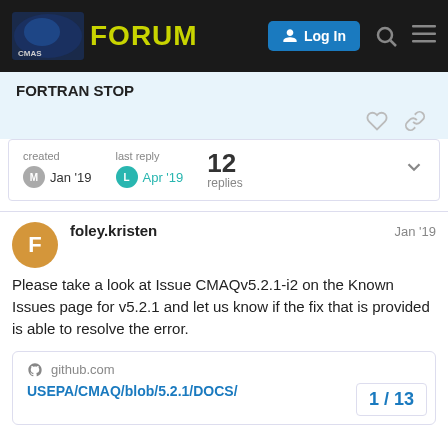CMAS FORUM | Log In
FORTRAN STOP
created  Jan '19    last reply  Apr '19    12 replies
foley.kristen  Jan '19

Please take a look at Issue CMAQv5.2.1-i2 on the Known Issues page for v5.2.1 and let us know if the fix that is provided is able to resolve the error.
github.com
USEPA/CMAQ/blob/5.2.1/DOCS/
1 / 13